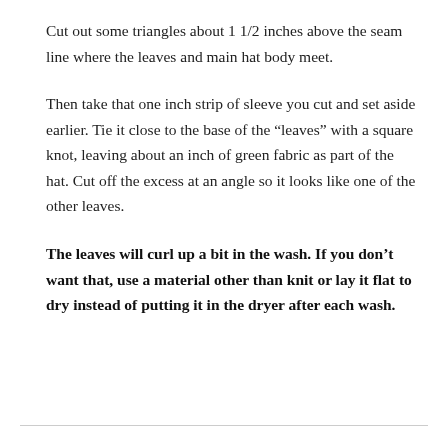Cut out some triangles about 1 1/2 inches above the seam line where the leaves and main hat body meet.
Then take that one inch strip of sleeve you cut and set aside earlier. Tie it close to the base of the “leaves” with a square knot, leaving about an inch of green fabric as part of the hat. Cut off the excess at an angle so it looks like one of the other leaves.
The leaves will curl up a bit in the wash. If you don’t want that, use a material other than knit or lay it flat to dry instead of putting it in the dryer after each wash.